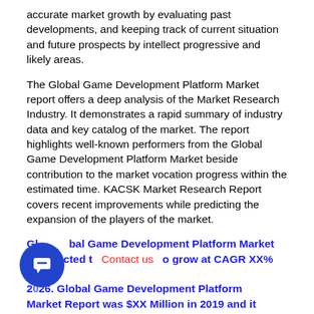accurate market growth by evaluating past developments, and keeping track of current situation and future prospects by intellect progressive and likely areas.
The Global Game Development Platform Market report offers a deep analysis of the Market Research Industry. It demonstrates a rapid summary of industry data and key catalog of the market. The report highlights well-known performers from the Global Game Development Platform Market beside contribution to the market vocation progress within the estimated time. KACSK Market Research Report covers recent improvements while predicting the expansion of the players of the market.
Global Game Development Platform Market is expected to grow at CAGR XX% by 2026. Global Game Development Platform Market Report was $XX Million in 2019 and it